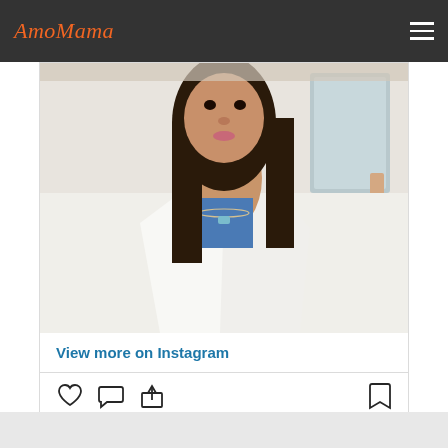AmoMama
[Figure (photo): Woman taking a selfie, wearing a white blazer and necklace, dark long hair, light background with furniture]
View more on Instagram
[Figure (infographic): Instagram action icons: heart (like), comment bubble, share arrow, and bookmark]
87,226 likes
Add a comment...
[Figure (logo): Instagram logo icon]